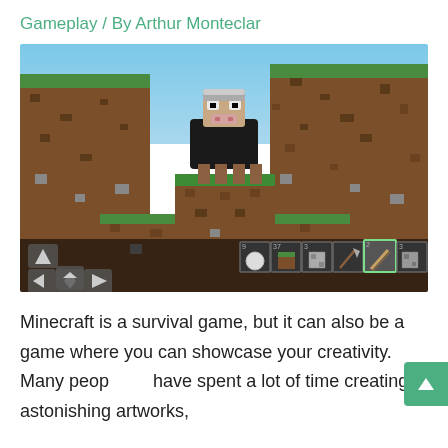Gameplay / By Arthur Monteclar
[Figure (screenshot): Minecraft mobile game screenshot showing a sheep standing on top of a dirt/grass block in a valley. The sheep has a dark body and light face. In the bottom-left corner are movement controls (arrow buttons), and at the bottom is a hotbar with items including a ball, dirt block, stone block, pickaxe, stick, stone, and pearls.]
Minecraft is a survival game, but it can also be a game where you can showcase your creativity. Many people have spent a lot of time creating astonishing artworks,